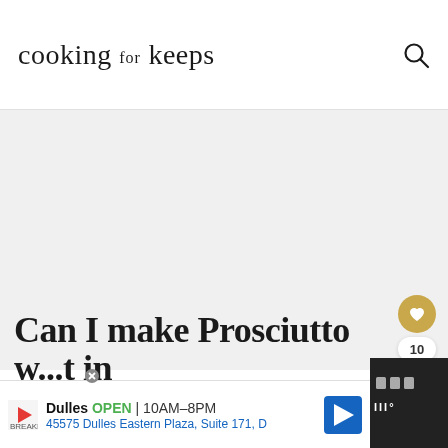cooking for keeps
[Figure (photo): Hero image area, light gray placeholder background for a food photograph]
Can I make Prosciutto w... ...t in
[Figure (infographic): Advertisement banner: Dulles OPEN 10AM-8PM, 45575 Dulles Eastern Plaza, Suite 171, D]
[Figure (infographic): Dark strip on right side with social icons and engagement count 10]